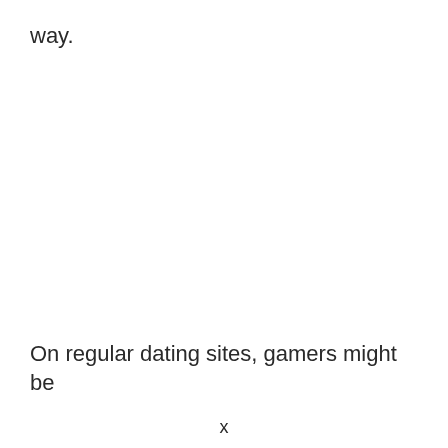way.
On regular dating sites, gamers might be
x